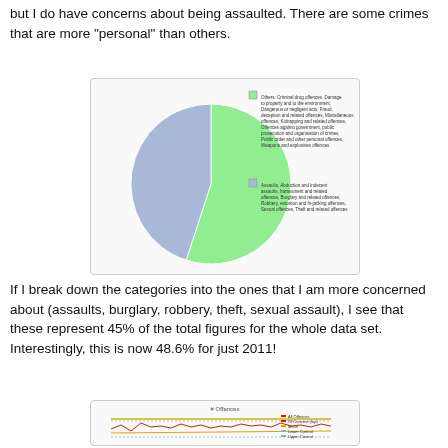but I do have concerns about being assaulted. There are some crimes that are more "personal" than others.
[Figure (pie-chart): Pie chart split into two segments: a green segment (majority, roughly 55%) representing offences including criminal drug offences, damage to property, environmental, fraud/deception, miscellaneous, kidnapping, offences against government, public prosecution and organisation of crime, public order and other personal offences, weapons and explosives offences; and a blue segment (roughly 45%) representing Assaults, Abduction and indecent assaults, harassment and related offences, Burglary and related offences, Robbery, extortion and hi-jacking offences, Sexual offences, Theft and related offences.]
If I break down the categories into the ones that I am more concerned about (assaults, burglary, robbery, theft, sexual assault), I see that these represent 45% of the total figures for the whole data set.  Interestingly, this is now 48.6% for just 2011!
[Figure (line-chart): Line chart showing number of offences over time with multiple series: All offences, Of Concern (top), Mean, Lower Control, Upper Control lines.]